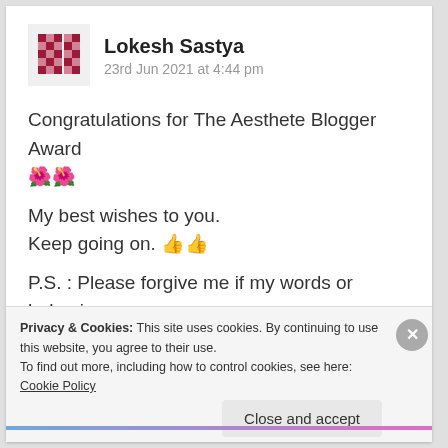Lokesh Sastya
23rd Jun 2021 at 4:44 pm
Congratulations for The Aesthete Blogger Award 🌺🌺
My best wishes to you.
Keep going on. 👍👍
P.S. : Please forgive me if my words or behaviour,
ever hurt your heart 😢
Privacy & Cookies: This site uses cookies. By continuing to use this website, you agree to their use.
To find out more, including how to control cookies, see here: Cookie Policy
Close and accept